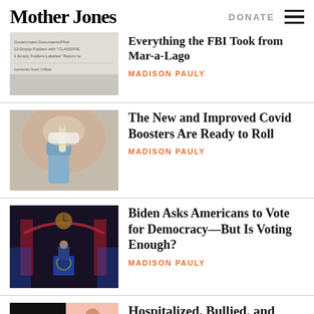Mother Jones | DONATE
[Figure (screenshot): Partial article with document image showing FBI inventory list]
Everything the FBI Took from Mar-a-Lago
MADISON PAULY
[Figure (photo): Person in blue gloves and mask holding a small vaccine vial]
The New and Improved Covid Boosters Are Ready to Roll
MADISON PAULY
[Figure (photo): President Biden speaking at a podium with red and blue lights]
Biden Asks Americans to Vote for Democracy—But Is Voting Enough?
MADISON PAULY
[Figure (photo): Partial image for Hospitalized, Bullied, and article]
Hospitalized, Bullied, and